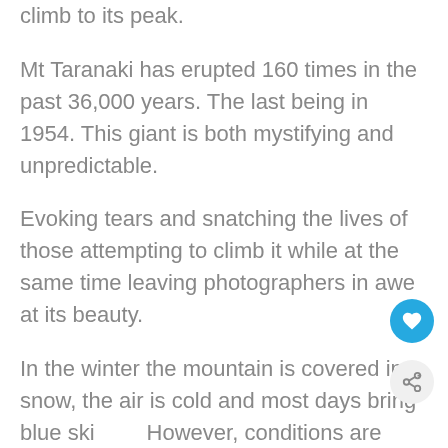climb to its peak.
Mt Taranaki has erupted 160 times in the past 36,000 years. The last being in 1954. This giant is both mystifying and unpredictable.
Evoking tears and snatching the lives of those attempting to climb it while at the same time leaving photographers in awe at its beauty.
In the winter the mountain is covered in snow, the air is cold and most days bring blue ski… However, conditions are treacherous.